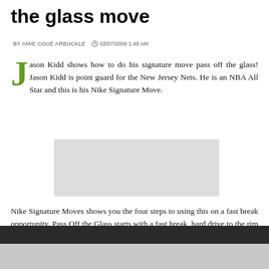the glass move
BY AMIE COUÉ ARBUCKLE  02/07/2009 1:48 AM
Jason Kidd shows how to do his signature move pass off the glass! Jason Kidd is point guard for the New Jersey Nets. He is an NBA All Star and this is his Nike Signature Move.
[Figure (other): Placeholder image block (light gray rectangle)]
Nike Signature Moves shows you the four steps to using this on a fast break opportunity. Pass Off the Glass starts with a fast break, hard drive to the rim and the pass off the glass to a teammate to finish with a dunk.